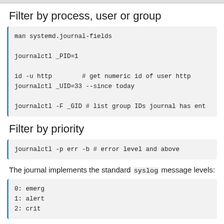Filter by process, user or group
[Figure (screenshot): Code block showing: man systemd.journal-fields

journalctl _PID=1

id -u http        # get numeric id of user http
journalctl _UID=33 --since today

journalctl -F _GID # list group IDs journal has ent]
Filter by priority
[Figure (screenshot): Code block showing: journalctl -p err -b # error level and above]
The journal implements the standard syslog message levels:
[Figure (screenshot): Code block showing:
0: emerg
1: alert
2: crit]